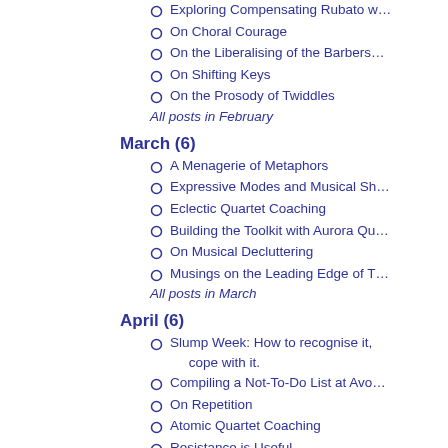Exploring Compensating Rubato w…
On Choral Courage
On the Liberalising of the Barbers…
On Shifting Keys
On the Prosody of Twiddles
All posts in February
March (6)
A Menagerie of Metaphors
Expressive Modes and Musical Sh…
Eclectic Quartet Coaching
Building the Toolkit with Aurora Qu…
On Musical Decluttering
Musings on the Leading Edge of T…
All posts in March
April (6)
Slump Week: How to recognise it, cope with it.
Compiling a Not-To-Do List at Avo…
On Repetition
Atomic Quartet Coaching
Resistance is Useful
The Robot/Human Dialectic
All posts in April
May (6)
LABBS Harmony College 2019
Building the Arc with Bristol A Cap…
Aurora Revisited